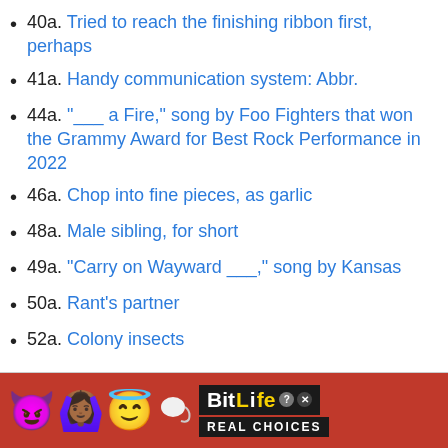40a. Tried to reach the finishing ribbon first, perhaps
41a. Handy communication system: Abbr.
44a. "___ a Fire," song by Foo Fighters that won the Grammy Award for Best Rock Performance in 2022
46a. Chop into fine pieces, as garlic
48a. Male sibling, for short
49a. "Carry on Wayward ___," song by Kansas
50a. Rant's partner
52a. Colony insects
[Figure (other): BitLife Real Choices advertisement banner with cartoon emojis (devil, person with raised hands, winking face with halo, sperm) on red background with BitLife logo and 'REAL CHOICES' text]